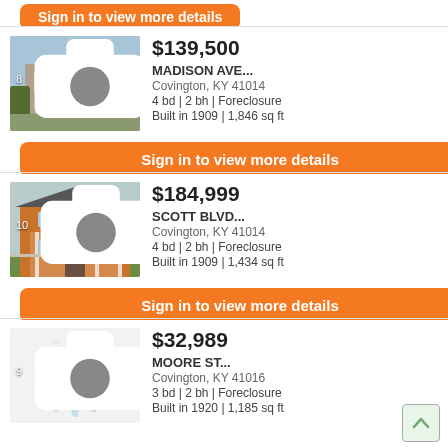[Figure (other): Orange 'Sign in to view more details' button (cropped at top)]
$139,500
MADISON AVE...
Covington, KY 41014
4 bd | 2 bh | Foreclosure
Built in 1909 | 1,846 sq ft
[Figure (photo): Photo of a house on MADISON AVE, a two-story building with balcony, 8 photos indicated]
Sign in to view more details
$184,999
SCOTT BLVD...
Covington, KY 41014
4 bd | 2 bh | Foreclosure
Built in 1909 | 1,434 sq ft
[Figure (photo): Photo of a house on SCOTT BLVD, a brick two-story home, 10 photos indicated]
Sign in to view more details
$32,989
MOORE ST...
Covington, KY 41016
3 bd | 2 bh | Foreclosure
Built in 1920 | 1,185 sq ft
[Figure (other): Loading spinner icon, 9 photos indicated]